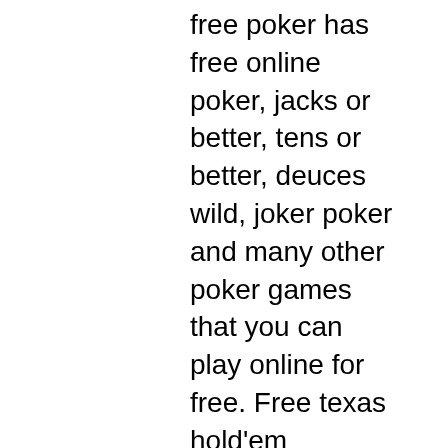free poker has free online poker, jacks or better, tens or better, deuces wild, joker poker and many other poker games that you can play online for free. Free texas hold'em multiplayer poker. Monopoly poker is an online poker game which offers a variety of game-modes; play cash games, spin &amp; play or sit&amp;go. When amateur player alex o'brien unexpectedly won an online poker tournament, little did she know that she'd be pitted against one of the. Times where you'd prefer not to install a poker room client on your computer. Xfinity games can be played online or downloaded for free. In order to continue playing, please enable ads to appear on this site. Real money and free-to-play mobile poker app reviews. Claim bonuses from the biggest online us poker operators using our exclusive links. A free online version of ultimate texas holdem. Test out your ultimate texas hold'em strategy here. Practice for the casino Play poker